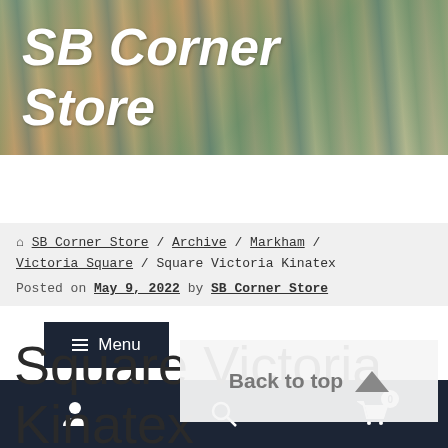SB Corner Store
Menu
SB Corner Store / Archive / Markham / Victoria Square / Square Victoria Kinatex
Posted on May 9, 2022 by SB Corner Store
Square Victoria Kinatex
Back to top
User | Search | Cart (0)